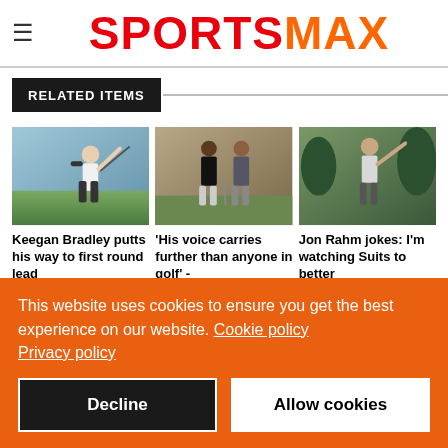SPORTSMAX
RELATED ITEMS
[Figure (photo): Golfer swinging club on a sunny day]
Keegan Bradley putts his way to first round lead
[Figure (photo): Two golfers standing on course]
'His voice carries further than anyone in golf' -
[Figure (photo): Golfer mid-swing in outdoor setting]
Jon Rahm jokes: I'm watching Suits to better
This website uses cookies to ensure you get the best experience on our website. Cookie policy Privacy policy
Decline
Allow cookies